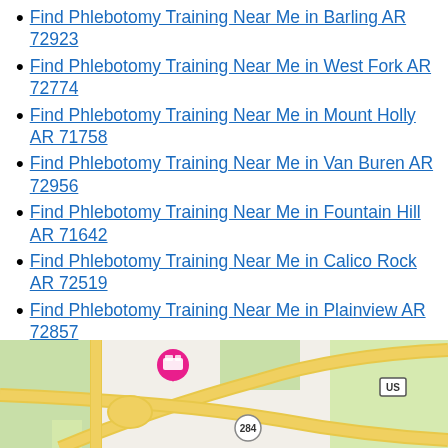Find Phlebotomy Training Near Me in Barling AR 72923
Find Phlebotomy Training Near Me in West Fork AR 72774
Find Phlebotomy Training Near Me in Mount Holly AR 71758
Find Phlebotomy Training Near Me in Van Buren AR 72956
Find Phlebotomy Training Near Me in Fountain Hill AR 71642
Find Phlebotomy Training Near Me in Calico Rock AR 72519
Find Phlebotomy Training Near Me in Plainview AR 72857
Find Phlebotomy Training Near Me in Jonesboro AR 72401
[Figure (map): A map showing roads and a location marker (hotel/lodging icon in pink) with a road labeled 284 and US highway visible. The map has green areas and yellow road lines on a light background.]